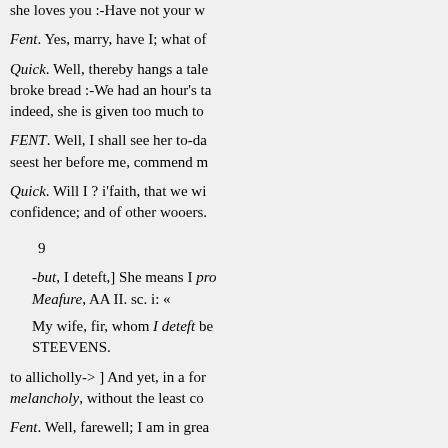she loves you :-Have not your w
Fent. Yes, marry, have I; what of
Quick. Well, thereby hangs a tale broke bread :-We had an hour's ta indeed, she is given too much to
FENT. Well, I shall see her to-da seest her before me, commend m
Quick. Will I ? i'faith, that we wi confidence; and of other wooers.
9
-but, I deteft,] She means I pro Meafure, AA II. sc. i: «
My wife, fir, whom I deteft be STEEVENS.
to allicholly-> ] And yet, in a for melancholy, without the least co
Fent. Well, farewell; I am in grea
[Exit. Quick. Farewell to your Anne's mind as well as another d